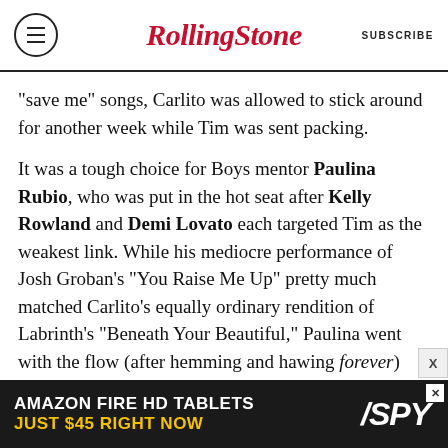RollingStone SUBSCRIBE
“save me” songs, Carlito was allowed to stick around for another week while Tim was sent packing.
It was a tough choice for Boys mentor Paulina Rubio, who was put in the hot seat after Kelly Rowland and Demi Lovato each targeted Tim as the weakest link. While his mediocre performance of Josh Groban’s “You Raise Me Up” pretty much matched Carlito’s equally ordinary rendition of Labrinth’s “Beneath Your Beautiful,” Paulina went with the flow (after hemming and hawing forever) and let him go. We give her credit, though, as she could have picked Carlito in order to drop the tie-
[Figure (screenshot): Amazon Fire HD Tablets advertisement banner: AMAZON FIRE HD TABLETS JUST $45 RIGHT NOW, with SPY logo]